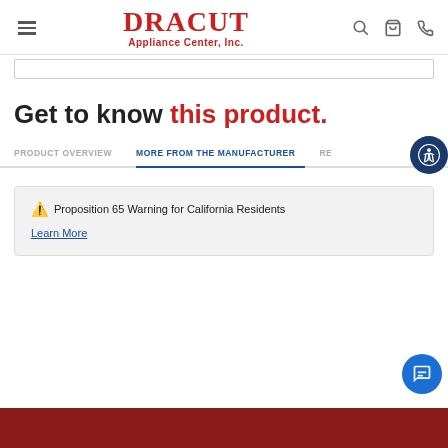Dracut Appliance Center, Inc.
[Figure (screenshot): Search bar input box]
Get to know this product.
PRODUCT OVERVIEW | MORE FROM THE MANUFACTURER | RE...
⚠ Proposition 65 Warning for California Residents
Learn More